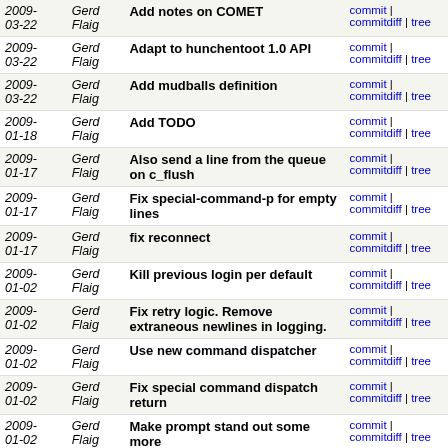| Date | Author | Message | Links |
| --- | --- | --- | --- |
| 2009-03-22 | Gerd Flaig | Add notes on COMET | commit | commitdiff | tree |
| 2009-03-22 | Gerd Flaig | Adapt to hunchentoot 1.0 API | commit | commitdiff | tree |
| 2009-03-22 | Gerd Flaig | Add mudballs definition | commit | commitdiff | tree |
| 2009-01-18 | Gerd Flaig | Add TODO | commit | commitdiff | tree |
| 2009-01-17 | Gerd Flaig | Also send a line from the queue on c_flush | commit | commitdiff | tree |
| 2009-01-17 | Gerd Flaig | Fix special-command-p for empty lines | commit | commitdiff | tree |
| 2009-01-17 | Gerd Flaig | fix reconnect | commit | commitdiff | tree |
| 2009-01-02 | Gerd Flaig | Kill previous login per default | commit | commitdiff | tree |
| 2009-01-02 | Gerd Flaig | Fix retry logic. Remove extraneous newlines in logging. | commit | commitdiff | tree |
| 2009-01-02 | Gerd Flaig | Use new command dispatcher | commit | commitdiff | tree |
| 2009-01-02 | Gerd Flaig | Fix special command dispatch return | commit | commitdiff | tree |
| 2009-01-02 | Gerd Flaig | Make prompt stand out some more | commit | commitdiff | tree |
| 2009-01-02 | Gerd Flaig | Special command dispatch. Log with object prefix. | commit | commitdiff | tree |